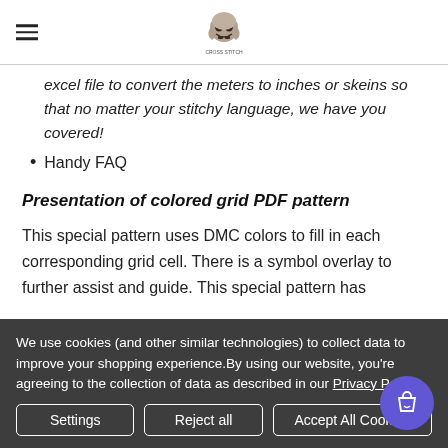[Logo: skull image]
excel file to convert the meters to inches or skeins so that no matter your stitchy language, we have you covered!
Handy FAQ
Presentation of colored grid PDF pattern
This special pattern uses DMC colors to fill in each corresponding grid cell. There is a symbol overlay to further assist and guide. This special pattern has
We use cookies (and other similar technologies) to collect data to improve your shopping experience.By using our website, you're agreeing to the collection of data as described in our Privacy Policy.